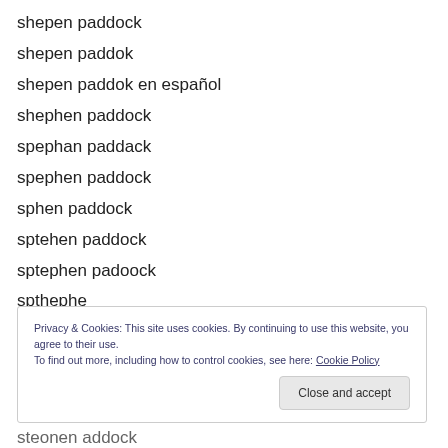shepen paddock
shepen paddok
shepen paddok en español
shephen paddock
spephan paddack
spephen paddock
sphen paddock
sptehen paddock
sptephen padoock
spthephe
srephe paddock girlfried
Privacy & Cookies: This site uses cookies. By continuing to use this website, you agree to their use.
To find out more, including how to control cookies, see here: Cookie Policy
steonen addock